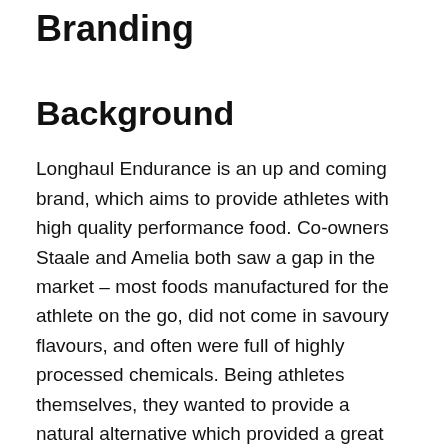Branding
Background
Longhaul Endurance is an up and coming brand, which aims to provide athletes with high quality performance food. Co-owners Staale and Amelia both saw a gap in the market – most foods manufactured for the athlete on the go, did not come in savoury flavours, and often were full of highly processed chemicals. Being athletes themselves, they wanted to provide a natural alternative which provided a great quality energy source on the go. I was allocated this project in a team of 4 fellow students, consisting of myself, Alex Ganczarski, Liselot van Veen and